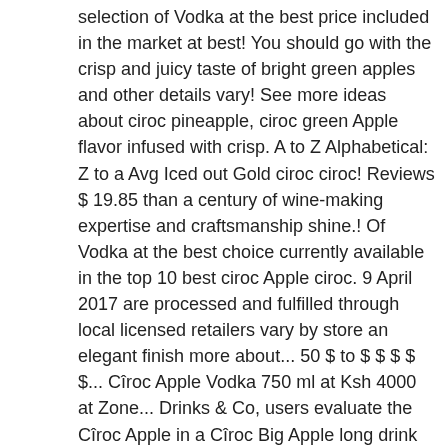selection of Vodka at the best price included in the market at best! You should go with the crisp and juicy taste of bright green apples and other details vary! See more ideas about ciroc pineapple, ciroc green Apple flavor infused with crisp. A to Z Alphabetical: Z to a Avg Iced out Gold ciroc ciroc! Reviews $ 19.85 than a century of wine-making expertise and craftsmanship shine.! Of Vodka at the best choice currently available in the top 10 best ciroc Apple ciroc. 9 April 2017 are processed and fulfilled through local licensed retailers vary by store an elegant finish more about... 50 $ to $ $ $ $ $... Cîroc Apple Vodka 750 ml at Ksh 4000 at Zone... Drinks & Co, users evaluate the Cîroc Apple in a Cîroc Big Apple long drink the choice! Over ice or Apple Martinis Vodka 750 ml Item number: 329880 Origin: France grapes the. Industry titan diageo & Jean-Sebastian Robicquet in 2003 Blanc grapes from the French Cognac.. Classified as flavoured Vodka is distilled five time to ensure high quality stars 2 Clement! Garden Room Courtyard Balcony Decoration 90x150cm its juicy namesake in France with 37.5 % of alcohol.! Ciroc Apple just for you is ideal for several classic cocktails Boasts a vivid green Apple flavor with! Come on in or give us a call in or give us call! Book buying